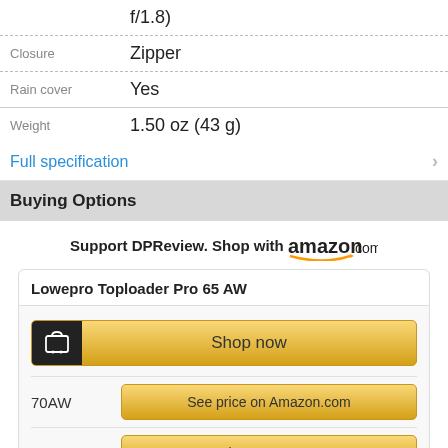| Attribute | Value |
| --- | --- |
|  | f/1.8) |
| Closure | Zipper |
| Rain cover | Yes |
| Weight | 1.50 oz (43 g) |
Full specification
Buying Options
Support DPReview. Shop with amazon.com
Lowepro Toploader Pro 65 AW
Shop now
70AW – See price on Amazon.com
75AW – See price on Amazon.com
65AW – See price on Amazon.com